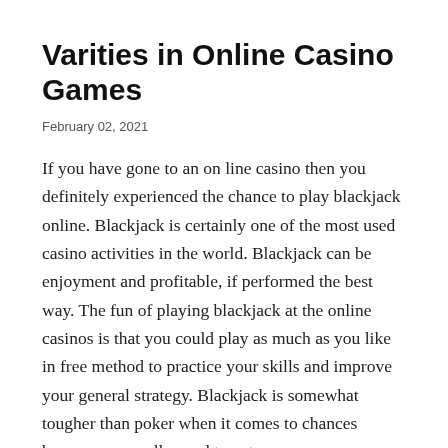Varities in Online Casino Games
February 02, 2021
If you have gone to an on line casino then you definitely experienced the chance to play blackjack online. Blackjack is certainly one of the most used casino activities in the world. Blackjack can be enjoyment and profitable, if performed the best way. The fun of playing blackjack at the online casinos is that you could play as much as you like in free method to practice your skills and improve your general strategy. Blackjack is somewhat tougher than poker when it comes to chances because you really need to get as near as...